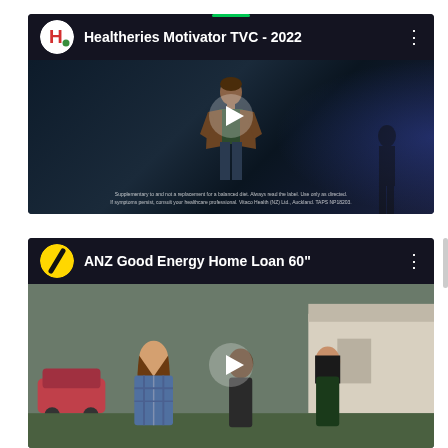[Figure (screenshot): YouTube video thumbnail for 'Healtheries Motivator TVC - 2022' showing a man in a brown jacket on a dark stage with blue lighting, with a play button overlay. Channel logo is Healtheries (H with leaf). Fine print disclaimer at bottom.]
[Figure (screenshot): YouTube video thumbnail for 'ANZ Good Energy Home Loan 60"' showing two young women outdoors, with a play button overlay. Channel logo is ANZ (yellow circle with black slash).]